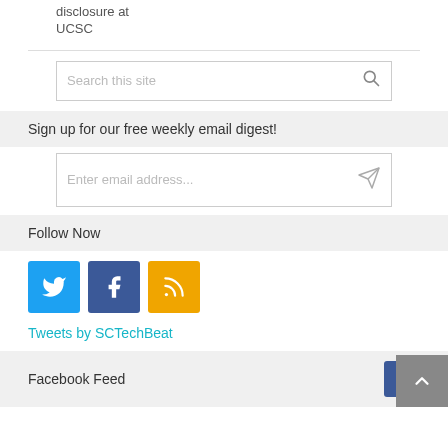disclosure at
UCSC
Search this site
Sign up for our free weekly email digest!
Enter email address...
Follow Now
[Figure (other): Social media icon buttons: Twitter (blue bird), Facebook (dark blue f), RSS (orange wave icon)]
Tweets by SCTechBeat
Facebook Feed